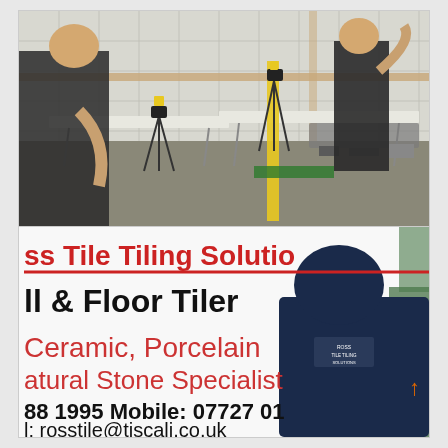[Figure (photo): Two workers tiling a room with white tiles on walls, working at trestle tables with equipment and tools scattered around.]
[Figure (photo): A man in a dark t-shirt standing in front of a white van/board with text: 'ss Tile Tiling Solutions', 'Wall & Floor Tiler', 'Ceramic, Porcelain', 'Natural Stone Specialist', '88 1995  Mobile: 07727 01', 'l: rosstile@tiscali.co.uk']